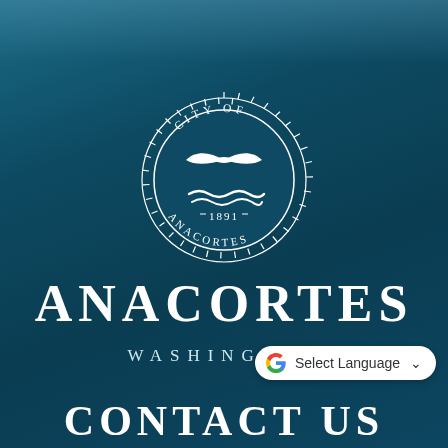[Figure (logo): City of Anacortes official seal — a circular emblem with a seagull over stylized waves, surrounded by the text 'CITY OF ANACORTES' and the year 1891, with a sunburst/jagged outer ring, all in white on a dark teal background.]
ANACORTES
WASHINGTON
Select Language
CONTACT US